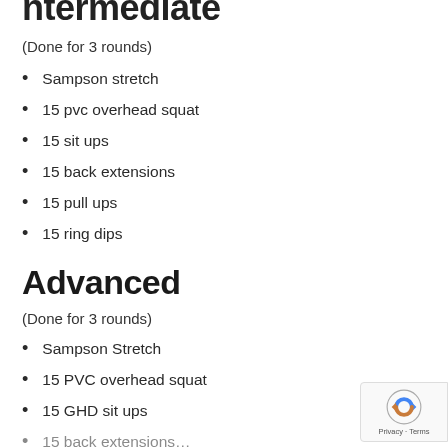Intermediate
(Done for 3 rounds)
Sampson stretch
15 pvc overhead squat
15 sit ups
15 back extensions
15 pull ups
15 ring dips
Advanced
(Done for 3 rounds)
Sampson Stretch
15 PVC overhead squat
15 GHD sit ups
15 back extensions